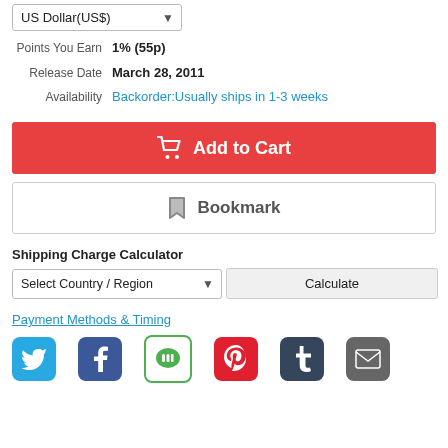US Dollar(US$) [dropdown]
Points You Earn  1% (55p)
Release Date  March 28, 2011
Availability  Backorder:Usually ships in 1-3 weeks
Add to Cart
Bookmark
Shipping Charge Calculator
Select Country / Region  [dropdown]  Calculate
Payment Methods & Timing
[Figure (infographic): Social sharing icons row: Twitter (blue bird), Facebook (blue f), LINE (green), Pinterest (red P), Tumblr (dark blue t), Email (grey envelope)]